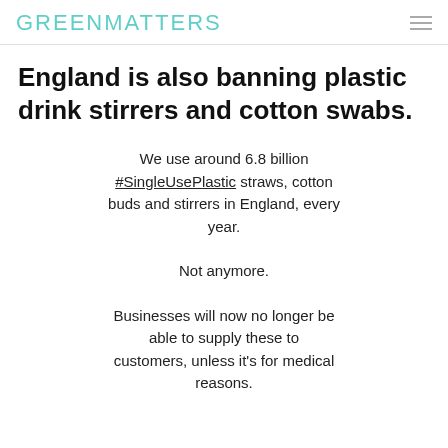GREENMATTERS
England is also banning plastic drink stirrers and cotton swabs.
We use around 6.8 billion #SingleUsePlastic straws, cotton buds and stirrers in England, every year.
Not anymore.
Businesses will now no longer be able to supply these to customers, unless it's for medical reasons.